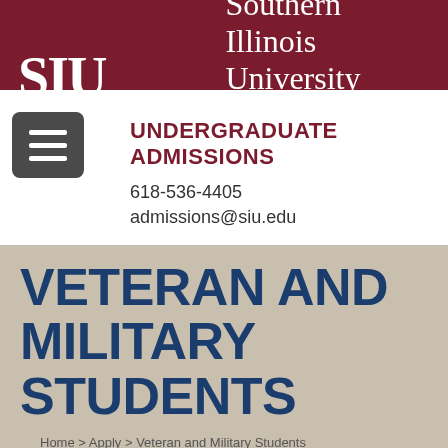[Figure (logo): SIU Southern Illinois University Carbondale logo on dark red background]
UNDERGRADUATE ADMISSIONS
618-536-4405
admissions@siu.edu
VETERAN AND MILITARY STUDENTS
Home > Apply > Veteran and Military Students
[Figure (photo): Photo showing American flags with stars and stripes]